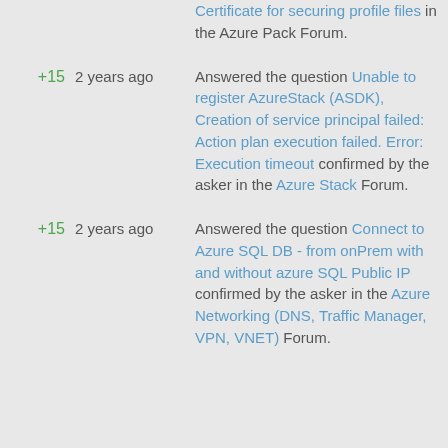Certificate for securing profile files in the Azure Pack Forum.
+15   2 years ago   Answered the question Unable to register AzureStack (ASDK), Creation of service principal failed: Action plan execution failed. Error: Execution timeout confirmed by the asker in the Azure Stack Forum.
+15   2 years ago   Answered the question Connect to Azure SQL DB - from onPrem with and without azure SQL Public IP confirmed by the asker in the Azure Networking (DNS, Traffic Manager, VPN, VNET) Forum.